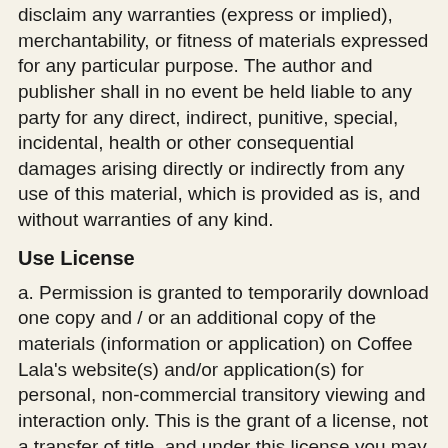disclaim any warranties (express or implied), merchantability, or fitness of materials expressed for any particular purpose. The author and publisher shall in no event be held liable to any party for any direct, indirect, punitive, special, incidental, health or other consequential damages arising directly or indirectly from any use of this material, which is provided as is, and without warranties of any kind.
Use License
a. Permission is granted to temporarily download one copy and / or an additional copy of the materials (information or application) on Coffee Lala's website(s) and/or application(s) for personal, non-commercial transitory viewing and interaction only. This is the grant of a license, not a transfer of title, and under this license you may not:
i modify or copy the materials;
ii use the materials for any commercial purpose, or for any public display (commercial or non-commercial excluding order invoice);